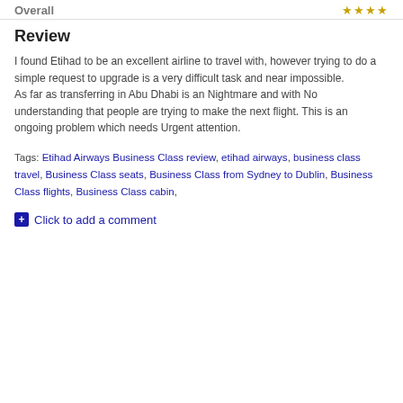Overall ★★★★
Review
I found Etihad to be an excellent airline to travel with, however trying to do a simple request to upgrade is a very difficult task and near impossible.
As far as transferring in Abu Dhabi is an Nightmare and with No understanding that people are trying to make the next flight. This is an ongoing problem which needs Urgent attention.
Tags: Etihad Airways Business Class review, etihad airways, business class travel, Business Class seats, Business Class from Sydney to Dublin, Business Class flights, Business Class cabin,
Click to add a comment